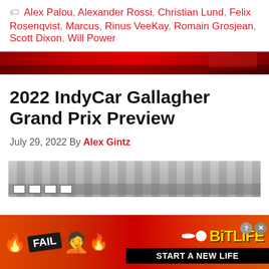🏷 Alex Palou, Alexander Rossi, Christian Lund, Felix Rosenqvist, Marcus, Rinus VeeKay, Romain Grosjean, Scott Dixon, Will Power
[Figure (photo): Red racing track banner/divider image with grandstand visible in background]
2022 IndyCar Gallagher Grand Prix Preview
July 29, 2022 By Alex Gintz
[Figure (photo): Partial view of racing track with tire barriers visible]
[Figure (infographic): BitLife advertisement banner: FAIL text with fire and facepalm emoji, person emoji, flame, sperm-and-egg icon, BitLife logo in yellow, START A NEW LIFE text on black background on red background]